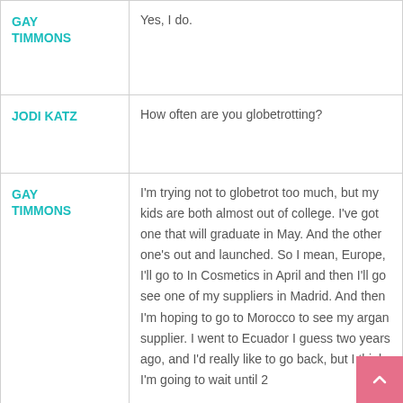| Speaker | Text |
| --- | --- |
| GAY TIMMONS | Yes, I do. |
| JODI KATZ | How often are you globetrotting? |
| GAY TIMMONS | I'm trying not to globetrot too much, but my kids are both almost out of college. I've got one that will graduate in May. And the other one's out and launched. So I mean, Europe, I'll go to In Cosmetics in April and then I'll go see one of my suppliers in Madrid. And then I'm hoping to go to Morocco to see my argan supplier. I went to Ecuador I guess two years ago, and I'd really like to go back, but I think I'm going to wait until 2... |